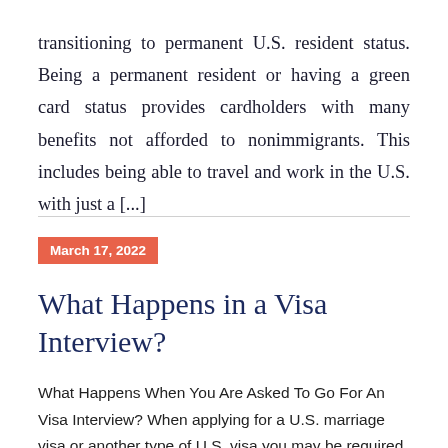transitioning to permanent U.S. resident status. Being a permanent resident or having a green card status provides cardholders with many benefits not afforded to nonimmigrants. This includes being able to travel and work in the U.S. with just a [...]
March 17, 2022
What Happens in a Visa Interview?
What Happens When You Are Asked To Go For An Visa Interview? When applying for a U.S. marriage visa or another type of U.S. visa you may be required to